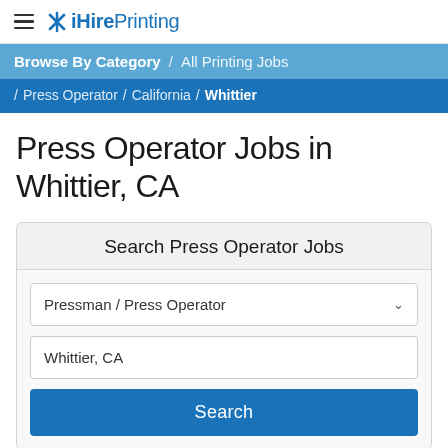iHirePrinting
Browse By Category / All Printing Jobs
/ Press Operator / California / Whittier
Press Operator Jobs in Whittier, CA
Search Press Operator Jobs
Pressman / Press Operator
Whittier, CA
Search